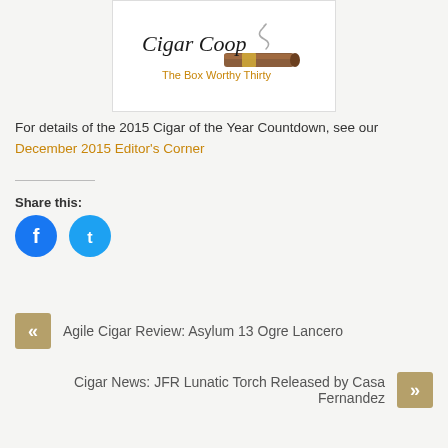[Figure (logo): Cigar Coop logo with cigar illustration and tagline 'The Box Worthy Thirty']
For details of the 2015 Cigar of the Year Countdown, see our December 2015 Editor's Corner
[Figure (infographic): Share this: section with Facebook and Twitter circular icon buttons]
« Agile Cigar Review: Asylum 13 Ogre Lancero
Cigar News: JFR Lunatic Torch Released by Casa Fernandez »